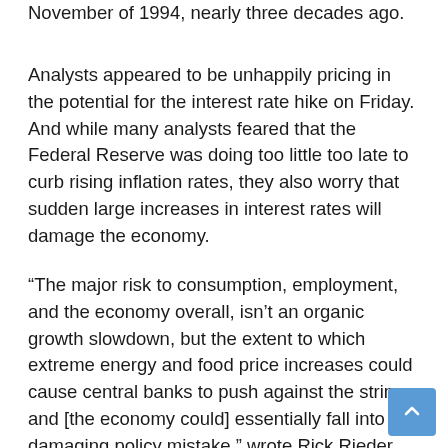November of 1994, nearly three decades ago.
Analysts appeared to be unhappily pricing in the potential for the interest rate hike on Friday. And while many analysts feared that the Federal Reserve was doing too little too late to curb rising inflation rates, they also worry that sudden large increases in interest rates will damage the economy.
“The major risk to consumption, employment, and the economy overall, isn’t an organic growth slowdown, but the extent to which extreme energy and food price increases could cause central banks to push against the string, and [the economy could] essentially fall into a damaging policy mistake,” wrote Rick Rieder, chief